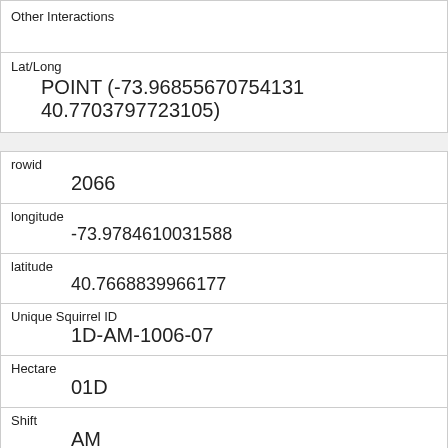| Other Interactions |  |
| Lat/Long | POINT (-73.96855670754131 40.7703797723105) |
| rowid | 2066 |
| longitude | -73.9784610031588 |
| latitude | 40.7668839966177 |
| Unique Squirrel ID | 1D-AM-1006-07 |
| Hectare | 01D |
| Shift | AM |
| Date | 10062018 |
| Hectare Squirrel Number | 7 |